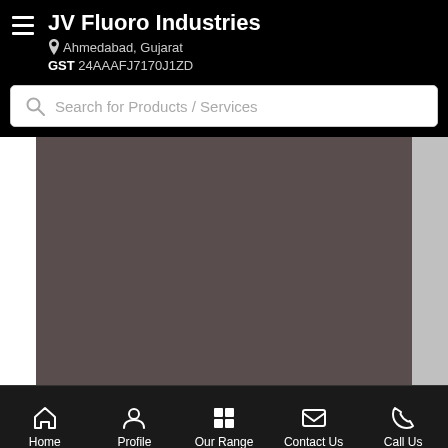JV Fluoro Industries — Ahmedabad, Gujarat — GST 24AAAFJ7170J1ZD
Search for Products / Services
[Figure (screenshot): Dark brownish-grey image placeholder area in center, white column on left, grey column on right]
Home | Profile | Our Range | Contact Us | Call Us